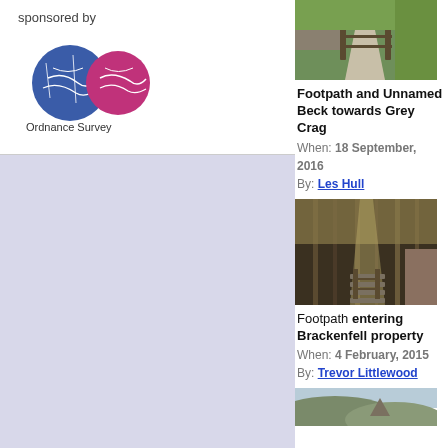sponsored by
[Figure (logo): Ordnance Survey logo with blue and pink circular map design and text 'Ordnance Survey']
[Figure (photo): Photograph of a footpath and gate with green grassy hillside and gravel path towards Grey Crag]
Footpath and Unnamed Beck towards Grey Crag
When: 18 September, 2016
By: Les Hull
[Figure (photo): Photograph of a woodland footpath entering Brackenfell property with trees and stone wall]
Footpath entering Brackenfell property
When: 4 February, 2015
By: Trevor Littlewood
[Figure (photo): Partial photograph of a landscape with hills and sky, partially cut off at bottom of page]